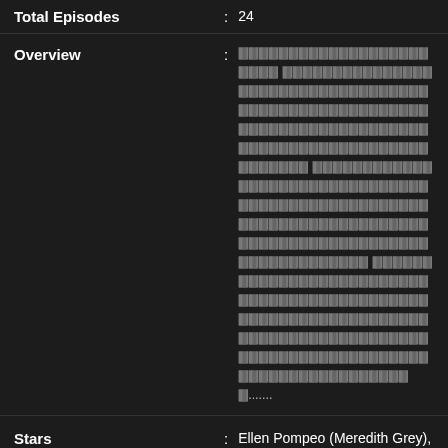| Field | Value |
| --- | --- |
| Total Episodes | 24 |
| Overview | 🀫🀫🀫🀫🀫🀫🀫🀫🀫🀫🀫🀫🀫🀫🀫🀫🀫🀫🀫🀫🀫🀫🀫 🀫🀫🀫🀫🀫🀫🀫🀫🀫🀫🀫🀫🀫🀫🀫🀫🀫🀫🀫🀫🀫🀫🀫🀫🀫🀫🀫🀫🀫🀫🀫🀫🀫🀫🀫🀫🀫🀫🀫🀫🀫🀫🀫🀫🀫🀫🀫🀫🀫🀫🀫🀫🀫🀫🀫🀫🀫🀫🀫🀫🀫🀫🀫🀫🀫🀫🀫🀫🀫🀫🀫🀫🀫🀫....... |
| Stars | Ellen Pompeo (Meredith Grey), James Pickens Jr. (Richard Webber), Chandra Wilson (Miranda Bailey) |
Similar TV Series
🀫🀫🀫🀫 | She-Hulk: Attorney at Law | 🀫🀫🀫